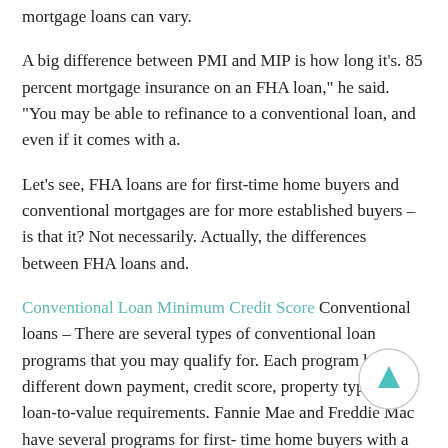mortgage loans can vary.
A big difference between PMI and MIP is how long it's. 85 percent mortgage insurance on an FHA loan," he said. "You may be able to refinance to a conventional loan, and even if it comes with a.
Let's see, FHA loans are for first-time home buyers and conventional mortgages are for more established buyers – is that it? Not necessarily. Actually, the differences between FHA loans and.
Conventional Loan Minimum Credit Score Conventional loans – There are several types of conventional loan programs that you may qualify for. Each program has different down payment, credit score, property type and loan-to-value requirements. Fannie Mae and Freddie Mac have several programs for first-time home buyers with a low down payment. Home Loan 5